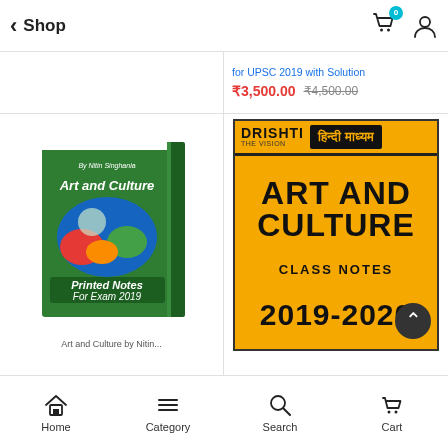Shop
for UPSC 2019 with Solution
₹3,500.00  ₹4,500.00
[Figure (photo): Art and Culture Printed Notes For Exam 2019 book by Nitin Singhania - green book cover]
[Figure (photo): Drishti The Vision Hindi Madhyam Art and Culture Class Notes 2019-2020 book cover - orange background with black text]
Art and Culture by Nitin...
Home  Category  Search  Cart